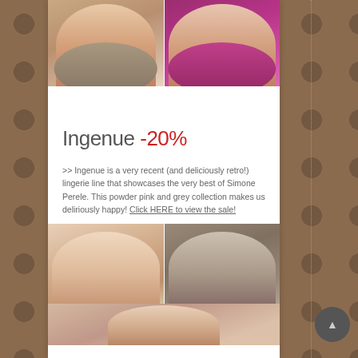[Figure (photo): Two lingerie photos side by side at top: left shows a woman in a taupe/grey bra, right shows a woman in a magenta/pink bra]
Ingenue -20%
>> Ingenue is a very recent (and deliciously retro!) lingerie line that showcases the very best of Simone Perele. This powder pink and grey collection makes us deliriously happy! Click HERE to view the sale!
[Figure (photo): Three lingerie product photos at bottom: left shows woman in powder pink bra, right shows woman in grey bra, bottom center shows partial view of lingerie model]